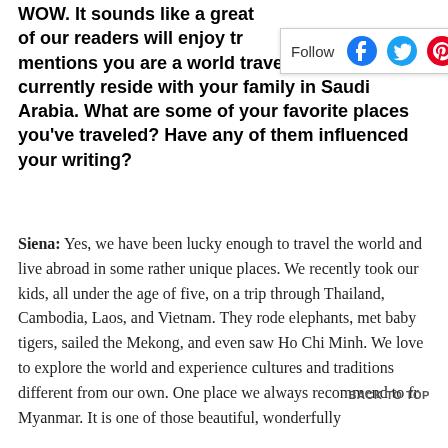[Figure (other): Follow bar with social media icons: Facebook, Twitter, Pinterest, Instagram]
WOW. It sounds like a great... of our readers will enjoy tr... mentions you are a world traveler, and you currently reside with your family in Saudi Arabia. What are some of your favorite places you've traveled? Have any of them influenced your writing?
Siena: Yes, we have been lucky enough to travel the world and live abroad in some rather unique places. We recently took our kids, all under the age of five, on a trip through Thailand, Cambodia, Laos, and Vietnam. They rode elephants, met baby tigers, sailed the Mekong, and even saw Ho Chi Minh. We love to explore the world and experience cultures and traditions different from our own. One place we always recommend to fr... Myanmar. It is one of those beautiful, wonderfully